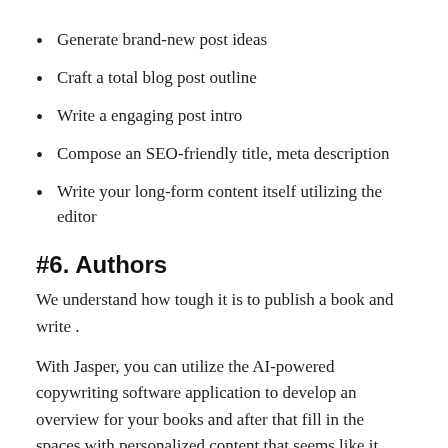Generate brand-new post ideas
Craft a total blog post outline
Write a engaging post intro
Compose an SEO-friendly title, meta description
Write your long-form content itself utilizing the editor
#6. Authors
We understand how tough it is to publish a book and write .
With Jasper, you can utilize the AI-powered copywriting software application to develop an overview for your books and after that fill in the spaces with personalized content that seems like it